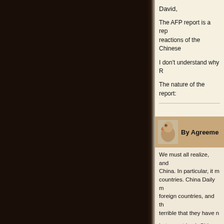David,
The AFP report is a repo reactions of the Chinese
I don't understand why R
The nature of the report:
By Agreeme
We must all realize, and China. In particular, it m countries. China Daily m foreign countries, and th terrible that they have n
Let us not bash China D the foreign countries did